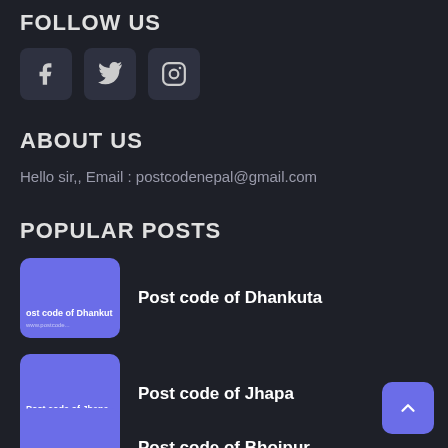FOLLOW US
[Figure (illustration): Three social media icon boxes: Facebook (f), Twitter (bird), Instagram (camera)]
ABOUT US
Hello sir,, Email : postcodenepal@gmail.com
POPULAR POSTS
[Figure (illustration): Thumbnail image with purple background showing text 'ost code of Dhankut']
Post code of Dhankuta
[Figure (illustration): Thumbnail image with purple background showing text 'Post code of Jhapa']
Post code of Jhapa
[Figure (illustration): Thumbnail image with purple background showing text 'Post code of Bhojpur']
Post code of Bhojpur